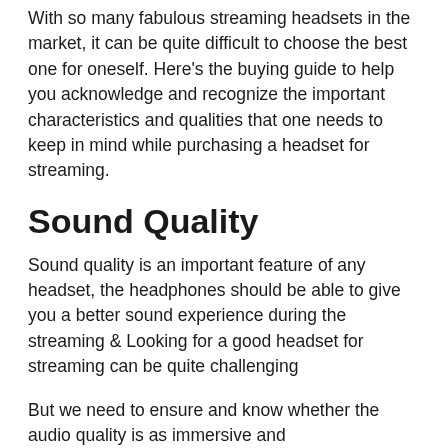With so many fabulous streaming headsets in the market, it can be quite difficult to choose the best one for oneself. Here's the buying guide to help you acknowledge and recognize the important characteristics and qualities that one needs to keep in mind while purchasing a headset for streaming.
Sound Quality
Sound quality is an important feature of any headset, the headphones should be able to give you a better sound experience during the streaming & Looking for a good headset for streaming can be quite challenging
But we need to ensure and know whether the audio quality is as immersive and